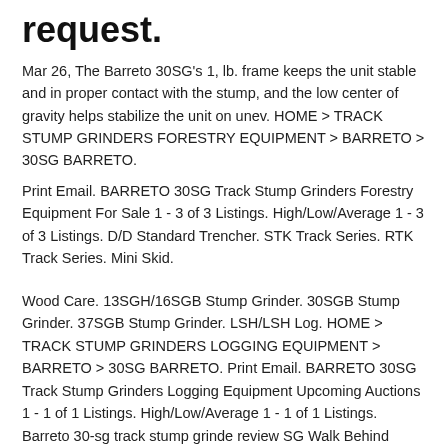request.
Mar 26, The Barreto 30SG's 1, lb. frame keeps the unit stable and in proper contact with the stump, and the low center of gravity helps stabilize the unit on unev. HOME > TRACK STUMP GRINDERS FORESTRY EQUIPMENT > BARRETO > 30SG BARRETO.
Print Email. BARRETO 30SG Track Stump Grinders Forestry Equipment For Sale 1 - 3 of 3 Listings. High/Low/Average 1 - 3 of 3 Listings. D/D Standard Trencher. STK Track Series. RTK Track Series. Mini Skid.
Wood Care. 13SGH/16SGB Stump Grinder. 30SGB Stump Grinder. 37SGB Stump Grinder. LSH/LSH Log. HOME > TRACK STUMP GRINDERS LOGGING EQUIPMENT > BARRETO > 30SG BARRETO. Print Email. BARRETO 30SG Track Stump Grinders Logging Equipment Upcoming Auctions 1 - 1 of 1 Listings. High/Low/Average 1 - 1 of 1 Listings. Barreto 30-sg track stump grinde review SG Walk Behind Crawler Stump Grinder. Florida ( mi away) On-Site Auction, Orlando, FL, USA, Sep 8,